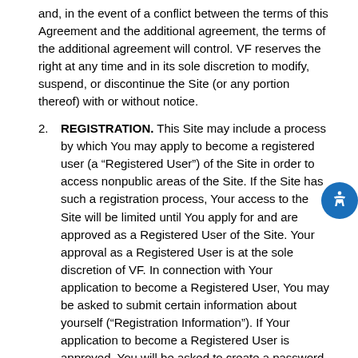and, in the event of a conflict between the terms of this Agreement and the additional agreement, the terms of the additional agreement will control. VF reserves the right at any time and in its sole discretion to modify, suspend, or discontinue the Site (or any portion thereof) with or without notice.
2. REGISTRATION. This Site may include a process by which You may apply to become a registered user (a “Registered User”) of the Site in order to access nonpublic areas of the Site. If the Site has such a registration process, Your access to the Site will be limited until You apply for and are approved as a Registered User of the Site. Your approval as a Registered User is at the sole discretion of VF. In connection with Your application to become a Registered User, You may be asked to submit certain information about yourself (“Registration Information”). If Your application to become a Registered User is approved, You will be asked to create a password-protected account to access certain